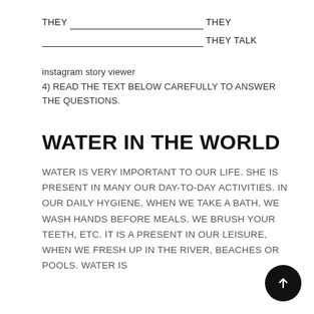THEY _________________ THEY
_________________ THEY TALK
instagram story viewer
4) READ THE TEXT BELOW CAREFULLY TO ANSWER THE QUESTIONS.
WATER IN THE WORLD
WATER IS VERY IMPORTANT TO OUR LIFE. SHE IS PRESENT IN MANY OUR DAY-TO-DAY ACTIVITIES. IN OUR DAILY HYGIENE, WHEN WE TAKE A BATH, WE WASH HANDS BEFORE MEALS, WE BRUSH YOUR TEETH, ETC. IT IS A PRESENT IN OUR LEISURE, WHEN WE FRESH UP IN THE RIVER, BEACHES OR POOLS. WATER IS